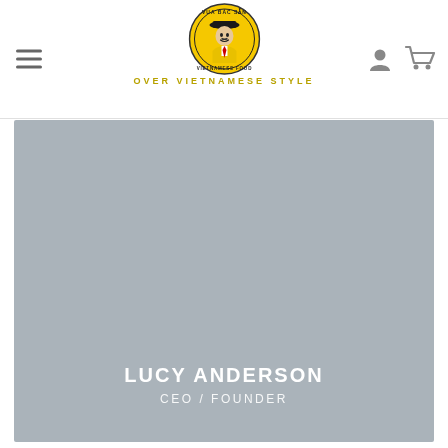[Figure (logo): Vua Bac San circular yellow logo with a man in a hat and suit, Vietnamese food branding]
OVER VIETNAMESE STYLE
[Figure (photo): Large gray placeholder photo area showing a person profile card for Lucy Anderson, CEO / Founder]
LUCY ANDERSON
CEO / FOUNDER